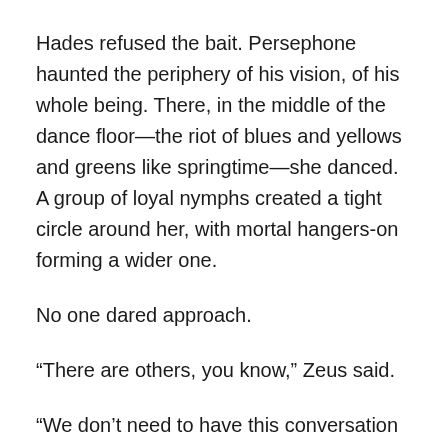Hades refused the bait. Persephone haunted the periphery of his vision, of his whole being. There, in the middle of the dance floor—the riot of blues and yellows and greens like springtime—she danced. A group of loyal nymphs created a tight circle around her, with mortal hangers-on forming a wider one.
No one dared approach.
“There are others, you know,” Zeus said.
“We don’t need to have this conversation again.”
Zeus and his matchmaking? No. No, thank you.
“Oh, I think we do.” Zeus pulled out his phone. How he loved that gadget. The constant stream of images and sounds. The entire world in the palm of his hand. Never